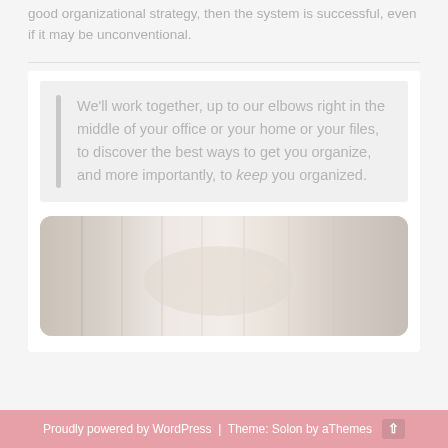good organizational strategy, then the system is successful, even if it may be unconventional.
We'll work together, up to our elbows right in the middle of your office or your home or your files, to discover the best ways to get you organize, and more importantly, to keep you organized.
[Figure (photo): A photo showing a person's hand reaching into hanging file folders in a filing cabinet or file organizer, with a soft focus and light, muted tones.]
Proudly powered by WordPress | Theme: Solon by aThemes